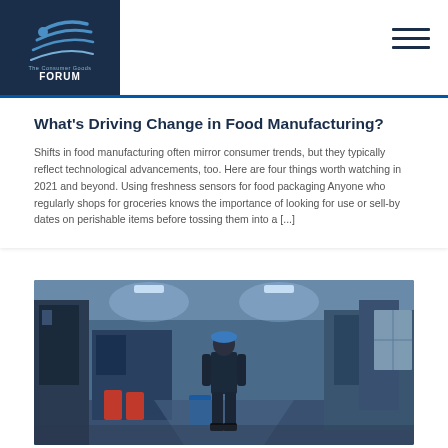The Consumer Goods Forum
What's Driving Change in Food Manufacturing?
Shifts in food manufacturing often mirror consumer trends, but they typically reflect technological advancements, too. Here are four things worth watching in 2021 and beyond. Using freshness sensors for food packaging Anyone who regularly shops for groceries knows the importance of looking for use or sell-by dates on perishable items before tossing them into a [...]
[Figure (photo): Worker in blue hard hat walking through an industrial manufacturing facility with large machinery and bright lighting]